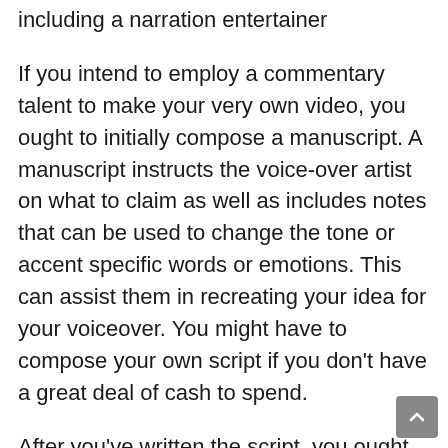including a narration entertainer
If you intend to employ a commentary talent to make your very own video, you ought to initially compose a manuscript. A manuscript instructs the voice-over artist on what to claim as well as includes notes that can be used to change the tone or accent specific words or emotions. This can assist them in recreating your idea for your voiceover. You might have to compose your own script if you don't have a great deal of cash to spend.
After you've written the script, you ought to record it. Make a foam system for the voice-over musician to stand on, and also pick a relaxed place where there will certainly be no disturbances. Additionally, make use of a pop filter to ensure that the voice-over artist's voice is clear and sharp. This w